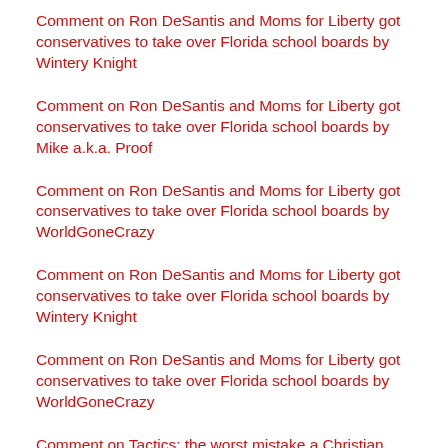Comment on Ron DeSantis and Moms for Liberty got conservatives to take over Florida school boards by Wintery Knight
Comment on Ron DeSantis and Moms for Liberty got conservatives to take over Florida school boards by Mike a.k.a. Proof
Comment on Ron DeSantis and Moms for Liberty got conservatives to take over Florida school boards by WorldGoneCrazy
Comment on Ron DeSantis and Moms for Liberty got conservatives to take over Florida school boards by Wintery Knight
Comment on Ron DeSantis and Moms for Liberty got conservatives to take over Florida school boards by WorldGoneCrazy
Comment on Tactics: the worst mistake a Christian can make when doing apologetics by mid-week apologetics booster (8-25-2022) – 1 Peter 4:12-16
Comment on How the presence and quality of fathers affects belief in God by mid-week apologetics booster (8-25-2022) – 1